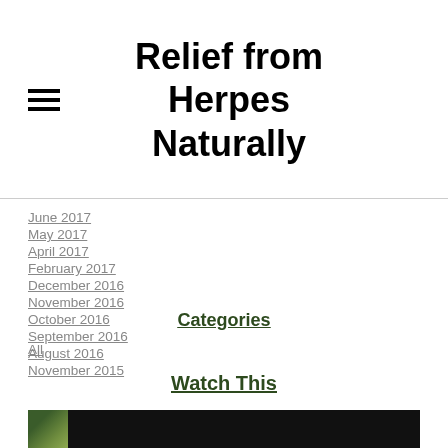Relief from Herpes Naturally
June 2017
May 2017
April 2017
February 2017
December 2016
November 2016
October 2016
September 2016
August 2016
November 2015
Categories
All
Watch This
[Figure (photo): Video thumbnail showing plant/herb image on dark background]